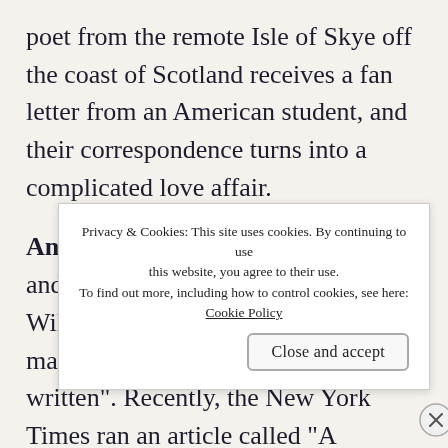poet from the remote Isle of Skye off the coast of Scotland receives a fan letter from an American student, and their correspondence turns into a complicated love affair.
Anna Karenina is Diane's choice — and it's hard to argue with that! William Faulkner called Tolstoy's masterpiece “the best novel ever written”. Recently, the New York Times ran an article called “A s[...] a[...] t[...]
Privacy & Cookies: This site uses cookies. By continuing to use this website, you agree to their use. To find out more, including how to control cookies, see here: Cookie Policy
Close and accept